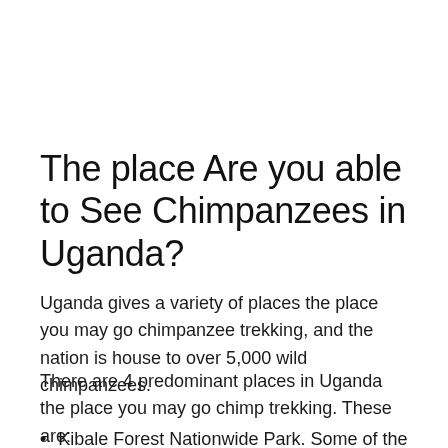The place Are you able to See Chimpanzees in Uganda?
Uganda gives a variety of places the place you may go chimpanzee trekking, and the nation is house to over 5,000 wild chimpanzees.
There are 4 predominant places in Uganda the place you may go chimp trekking. These are:
Kibale Forest Nationwide Park. Some of the well-liked